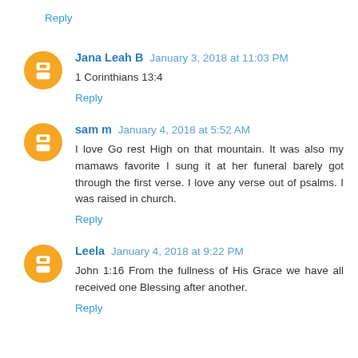Reply
Jana Leah B January 3, 2018 at 11:03 PM
1 Corinthians 13:4
Reply
sam m January 4, 2018 at 5:52 AM
I love Go rest High on that mountain. It was also my mamaws favorite I sung it at her funeral barely got through the first verse. I love any verse out of psalms. I was raised in church.
Reply
Leela January 4, 2018 at 9:22 PM
John 1:16 From the fullness of His Grace we have all received one Blessing after another.
Reply